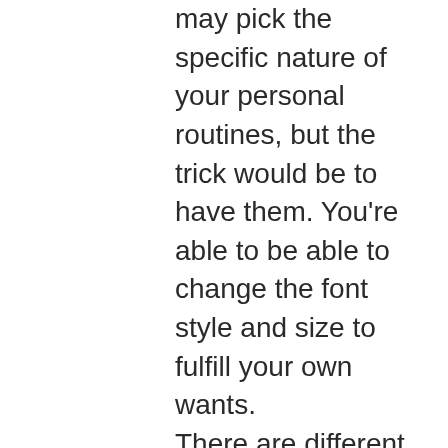may pick the specific nature of your personal routines, but the trick would be to have them. You're able to be able to change the font style and size to fulfill your own wants. There are different sorts of templates which may be downloaded from the particular net. Calendar templates are usually available on the internet for download and make use of. Our blank calendar templates provide an additional bonus few websites can provide. Down-loadable Monthly Calendar Template Get the blank monthly calendar At the start each calendar year, consider the particular huge picture. Below you'll come across several good calendar templates that a